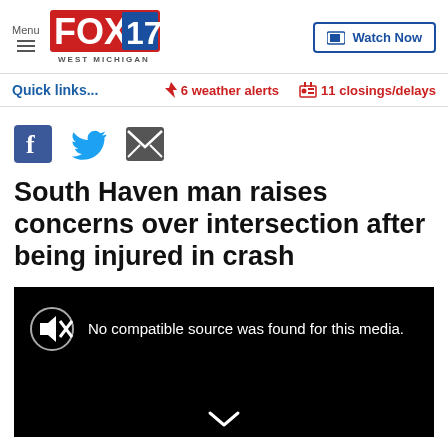Menu | FOX 17 WEST MICHIGAN | Watch Now
Quick links...  ⚡ 6 weather alerts  🏫 11 closings/delays
[Figure (other): Social sharing icons: Facebook, Twitter, Email]
South Haven man raises concerns over intersection after being injured in crash
[Figure (other): Video player showing error: No compatible source was found for this media.]